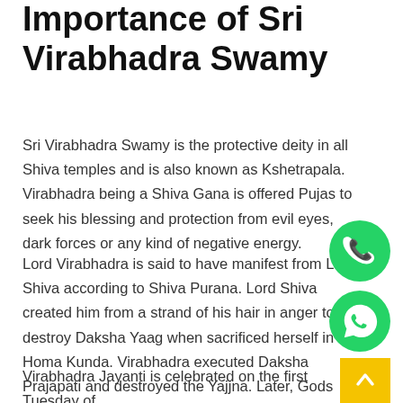Importance of Sri Virabhadra Swamy
Sri Virabhadra Swamy is the protective deity in all Shiva temples and is also known as Kshetrapala. Virabhadra being a Shiva Gana is offered Pujas to seek his blessing and protection from evil eyes, dark forces or any kind of negative energy.
Lord Virabhadra is said to have manifest from Lord Shiva according to Shiva Purana. Lord Shiva created him from a strand of his hair in anger to destroy Daksha Yaag when sacrificed herself in the Homa Kunda. Virabhadra executed Daksha Prajapati and destroyed the Yajjna. Later, Gods brought Daksha to life attaching a Goat's head. There are many temples dedicated to Virabhadra Swamy across India.
Virabhadra Jayanti is celebrated on the first Tuesday of
[Figure (other): Green circular phone call button (contact widget)]
[Figure (other): Green circular WhatsApp chat button (contact widget)]
[Figure (other): Yellow square scroll-to-top button with upward chevron]